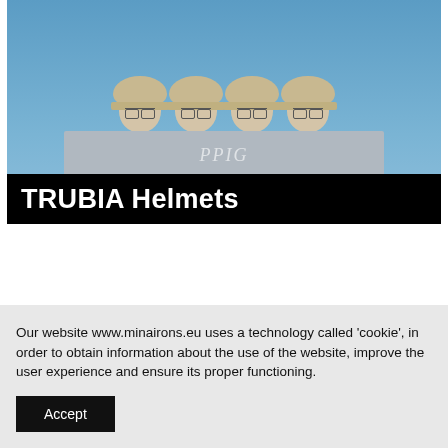[Figure (photo): Four gray miniature soldier heads with helmets and glasses, mounted on a gray base/block with 'PPIG' text, against a blue sky background. Below the photo is a black caption bar reading 'TRUBIA Helmets' in white bold text.]
[Figure (other): Small dark expand/fullscreen button with a diagonal arrow icon, positioned in the lower right of the image area.]
Our website www.minairons.eu uses a technology called 'cookie', in order to obtain information about the use of the website, improve the user experience and ensure its proper functioning.
Accept